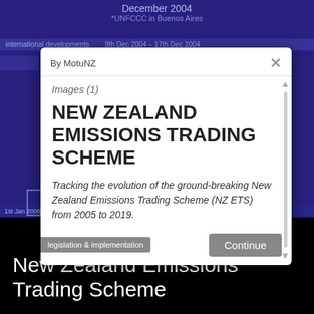December 2004
*UNFCCC in Buenos Aires
international developments
By MotuNZ
Images (1)
NEW ZEALAND EMISSIONS TRADING SCHEME
Tracking the evolution of the ground-breaking New Zealand Emissions Trading Scheme (NZ ETS) from 2005 to 2019.
legislation & implementation
1st Jan 2006 1st Jan 2008 1st Jan 2010 1st Jan 2012 1st Jan 2014 1st Jan 201...
New Zealand Emissions Trading Scheme